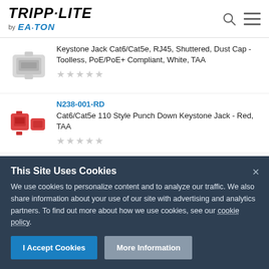[Figure (logo): Tripp-Lite by Eaton logo]
Keystone Jack Cat6/Cat5e, RJ45, Shuttered, Dust Cap - Toolless, PoE/PoE+ Compliant, White, TAA
N238-001-RD
Cat6/Cat5e 110 Style Punch Down Keystone Jack - Red, TAA
This Site Uses Cookies
We use cookies to personalize content and to analyze our traffic. We also share information about your use of our site with advertising and analytics partners. To find out more about how we use cookies, see our cookie policy.
I Accept Cookies
More Information